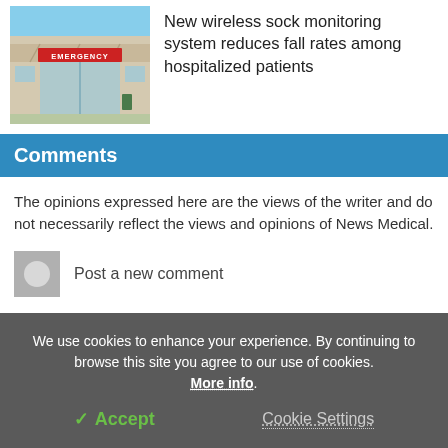[Figure (photo): Hospital emergency entrance with red EMERGENCY sign]
New wireless sock monitoring system reduces fall rates among hospitalized patients
Comments
The opinions expressed here are the views of the writer and do not necessarily reflect the views and opinions of News Medical.
Post a new comment
We use cookies to enhance your experience. By continuing to browse this site you agree to our use of cookies. More info.
✓ Accept   Cookie Settings